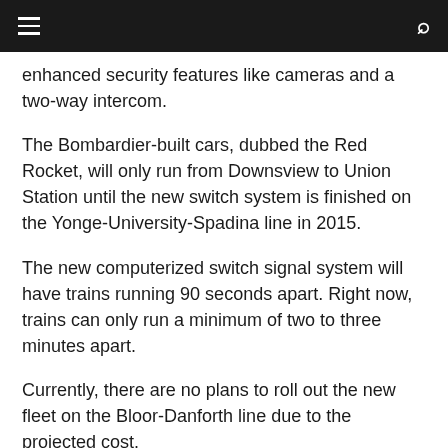☰  🔍
enhanced security features like cameras and a two-way intercom.
The Bombardier-built cars, dubbed the Red Rocket, will only run from Downsview to Union Station until the new switch system is finished on the Yonge-University-Spadina line in 2015.
The new computerized switch signal system will have trains running 90 seconds apart. Right now, trains can only run a minimum of two to three minutes apart.
Currently, there are no plans to roll out the new fleet on the Bloor-Danforth line due to the projected cost.
Transit activist Steve Munro says that the new cars